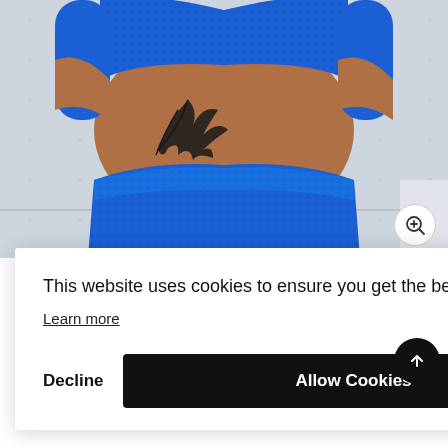[Figure (photo): A woman wearing a blue textured athletic crop top and matching high-waisted leggings, showing her midriff with a floral/dragon tattoo on her side. The background is light grey/white with subtle dot pattern. A zoom-in button (magnifying glass with plus) is visible in the lower right of the image.]
This website uses cookies to ensure you get the best experience on our website.
Learn more
Decline
Allow Cookies